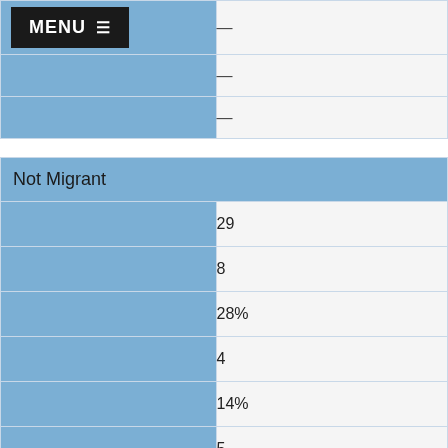|  |  |
| --- | --- |
| MENU ☰ | – |
|  | – |
|  | – |
| Not Migrant |  |
|  | 29 |
|  | 8 |
|  | 28% |
|  | 4 |
|  | 14% |
|  | 5 |
|  | 17% |